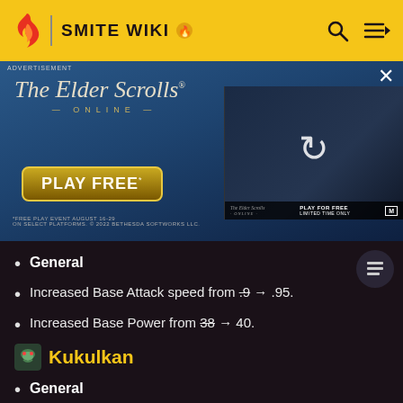SMITE WIKI
[Figure (screenshot): Advertisement for The Elder Scrolls Online game showing knight imagery and Play Free button with a video thumbnail overlay]
General
Increased Base Attack speed from .9 → .95.
Increased Base Power from 38 → 40.
Kukulkan
General
Fixed an issue where Kuku Kukulkan had invisible Basic Attack FX.
Medusa